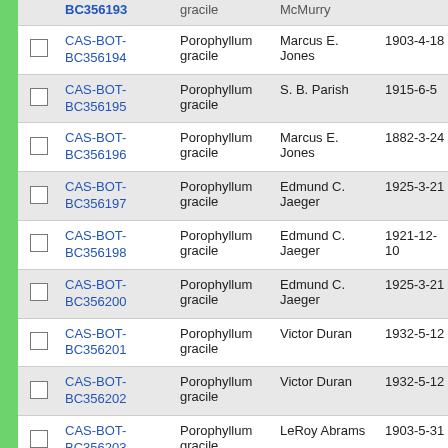|  | ID | Species | Collector | Date | # |
| --- | --- | --- | --- | --- | --- |
| ☐ | CAS-BOT-BC356194 | Porophyllum gracile | Marcus E. Jones | 1903-4-18 | s.n. |
| ☐ | CAS-BOT-BC356195 | Porophyllum gracile | S. B. Parish | 1915-6-5 | 10 |
| ☐ | CAS-BOT-BC356196 | Porophyllum gracile | Marcus E. Jones | 1882-3-24 | 31 |
| ☐ | CAS-BOT-BC356197 | Porophyllum gracile | Edmund C. Jaeger | 1925-3-21 | s.n. |
| ☐ | CAS-BOT-BC356198 | Porophyllum gracile | Edmund C. Jaeger | 1921-12-10 | s.n. |
| ☐ | CAS-BOT-BC356200 | Porophyllum gracile | Edmund C. Jaeger | 1925-3-21 | s.n. |
| ☐ | CAS-BOT-BC356201 | Porophyllum gracile | Victor Duran | 1932-5-12 | 32 |
| ☐ | CAS-BOT-BC356202 | Porophyllum gracile | Victor Duran | 1932-5-12 | 32 |
| ☐ | CAS-BOT-BC356203 | Porophyllum gracile | LeRoy Abrams | 1903-5-31 | 36 |
| ☐ | CAS-BOT-... | Porophyllum... |  |  |  |